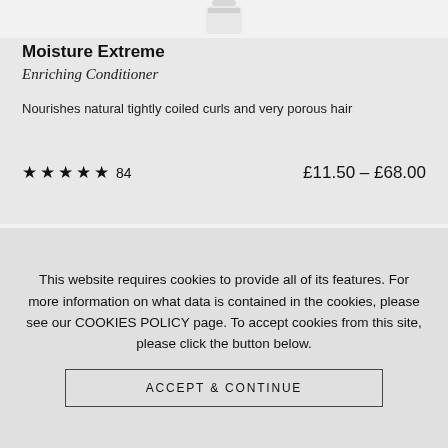[Figure (photo): Partial view of a white product bottle/container at the top of a product card]
Moisture Extreme
Enriching Conditioner
Nourishes natural tightly coiled curls and very porous hair
★★★★★ 84    £11.50 – £68.00
[Figure (other): Dark teal/green rectangular bar representing a partially visible product image in the second card]
This website requires cookies to provide all of its features. For more information on what data is contained in the cookies, please see our COOKIES POLICY page. To accept cookies from this site, please click the button below.
ACCEPT & CONTINUE